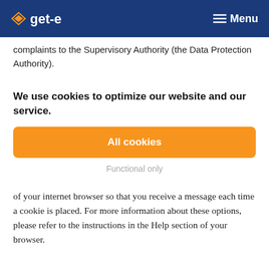get-e  Menu
complaints to the Supervisory Authority (the Data Protection Authority).
We use cookies to optimize our website and our service.
All cookies
Functional only
of your internet browser so that you receive a message each time a cookie is placed. For more information about these options, please refer to the instructions in the Help section of your browser.